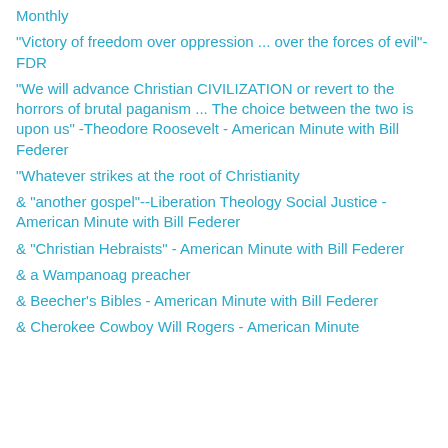Monthly
"Victory of freedom over oppression ... over the forces of evil"-FDR
"We will advance Christian CIVILIZATION or revert to the horrors of brutal paganism ... The choice between the two is upon us" -Theodore Roosevelt - American Minute with Bill Federer
"Whatever strikes at the root of Christianity
& "another gospel"--Liberation Theology Social Justice - American Minute with Bill Federer
& "Christian Hebraists" - American Minute with Bill Federer
& a Wampanoag preacher
& Beecher's Bibles - American Minute with Bill Federer
& Cherokee Cowboy Will Rogers - American Minute